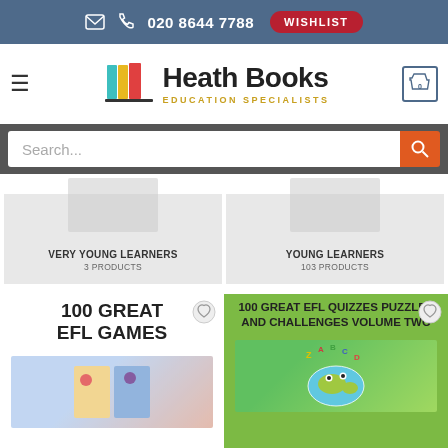020 8644 7788  WISHLIST
[Figure (logo): Heath Books Education Specialists logo with colorful book spines icon]
Search...
VERY YOUNG LEARNERS
3 PRODUCTS
YOUNG LEARNERS
103 PRODUCTS
100 GREAT EFL GAMES
100 GREAT EFL QUIZZES PUZZLES AND CHALLENGES VOLUME TWO